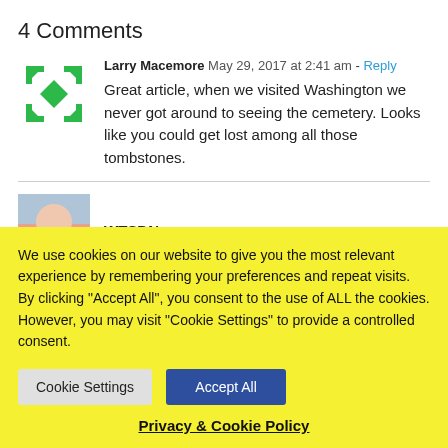4 Comments
Larry Macemore  May 29, 2017 at 2:41 am - Reply
Great article, when we visited Washington we never got around to seeing the cemetery. Looks like you could get lost among all those tombstones.
WTSDN  May 29, 2017 at 5:59 am - Reply
We use cookies on our website to give you the most relevant experience by remembering your preferences and repeat visits. By clicking "Accept All", you consent to the use of ALL the cookies. However, you may visit "Cookie Settings" to provide a controlled consent.
Cookie Settings | Accept All
Privacy & Cookie Policy